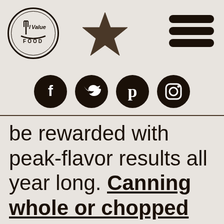[Figure (logo): I Value Food logo — circular badge with fork and text 'I Value FOOD']
[Figure (illustration): Star icon (Macy's style star) in dark brown/black]
[Figure (illustration): Hamburger menu icon — three horizontal lines]
[Figure (illustration): Social media icons row: Facebook, Twitter, Pinterest, Instagram — white icons on dark brown circles]
be rewarded with peak-flavor results all year long. Canning whole or chopped veggies is one